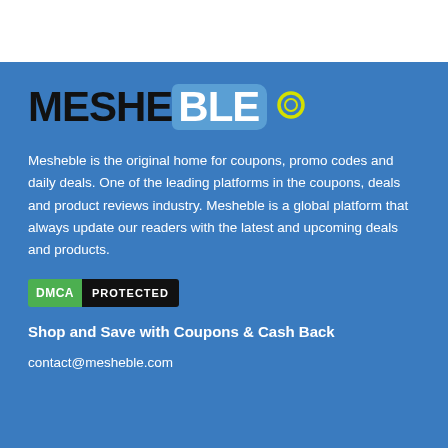[Figure (logo): Mesheble logo with black 'MESHE' text followed by a blue rounded rectangle containing white 'BLE' text and a yellow ring icon]
Mesheble is the original home for coupons, promo codes and daily deals. One of the leading platforms in the coupons, deals and product reviews industry. Mesheble is a global platform that always update our readers with the latest and upcoming deals and products.
[Figure (logo): DMCA PROTECTED badge with green DMCA label and black PROTECTED label]
Shop and Save with Coupons & Cash Back
contact@mesheble.com